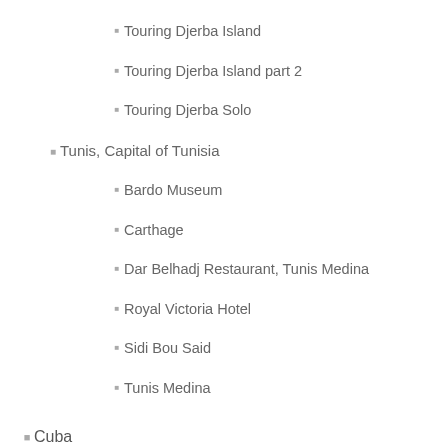Touring Djerba Island
Touring Djerba Island part 2
Touring Djerba Solo
Tunis, Capital of Tunisia
Bardo Museum
Carthage
Dar Belhadj Restaurant, Tunis Medina
Royal Victoria Hotel
Sidi Bou Said
Tunis Medina
Cuba
Trinidad
India
Agra Fort in Agra
Amber Fort in Jaipur
Barso School, Baaratpu, Rajasthan
Delhi